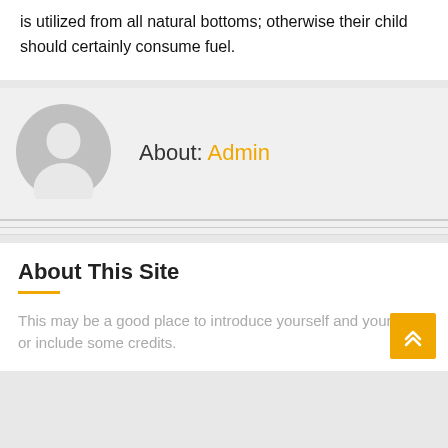is utilized from all natural bottoms; otherwise their child should certainly consume fuel.
[Figure (illustration): Circular user avatar placeholder icon with gray background, showing a silhouette of a person (head and shoulders) in white/light gray.]
About: Admin
About This Site
This may be a good place to introduce yourself and your site or include some credits.